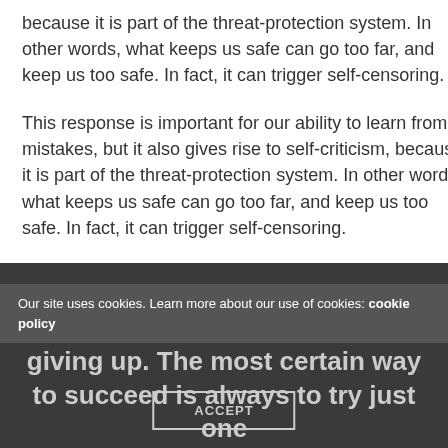because it is part of the threat-protection system. In other words, what keeps us safe can go too far, and keep us too safe. In fact, it can trigger self-censoring.
This response is important for our ability to learn from mistakes, but it also gives rise to self-criticism, because it is part of the threat-protection system. In other words, what keeps us safe can go too far, and keep us too safe. In fact, it can trigger self-censoring.
Our site uses cookies. Learn more about our use of cookies: cookie policy
giving up. The most certain way to succeed is always to try just one